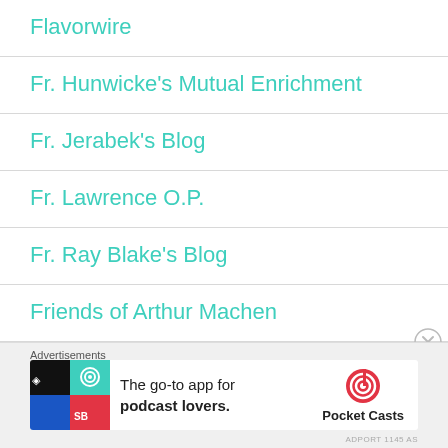Flavorwire
Fr. Hunwicke's Mutual Enrichment
Fr. Jerabek's Blog
Fr. Lawrence O.P.
Fr. Ray Blake's Blog
Friends of Arthur Machen
Front Porch Republic
Advertisements
[Figure (infographic): Pocket Casts advertisement banner: colorful app icon on left, text 'The go-to app for podcast lovers.' and Pocket Casts logo on right]